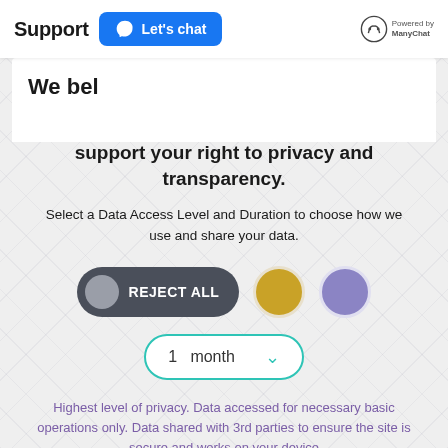Support  Let's chat
We bel
support your right to privacy and transparency.
Select a Data Access Level and Duration to choose how we use and share your data.
[Figure (infographic): Three options: a dark pill button labeled REJECT ALL with a grey circle on the left, a gold circle, and a lavender circle]
[Figure (infographic): Dropdown selector showing '1 month' with a teal chevron arrow, bordered in teal/green]
Highest level of privacy. Data accessed for necessary basic operations only. Data shared with 3rd parties to ensure the site is secure and works on your device
Save my preferences